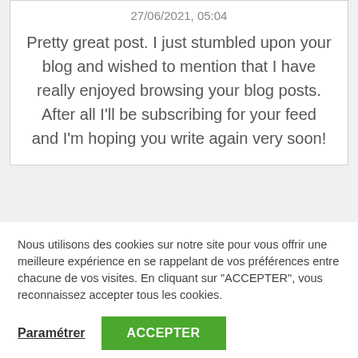27/06/2021, 05:04
Pretty great post. I just stumbled upon your blog and wished to mention that I have really enjoyed browsing your blog posts. After all I'll be subscribing for your feed and I'm hoping you write again very soon!
Nous utilisons des cookies sur notre site pour vous offrir une meilleure expérience en se rappelant de vos préférences entre chacune de vos visites. En cliquant sur "ACCEPTER", vous reconnaissez accepter tous les cookies.
Paramétrer
ACCEPTER